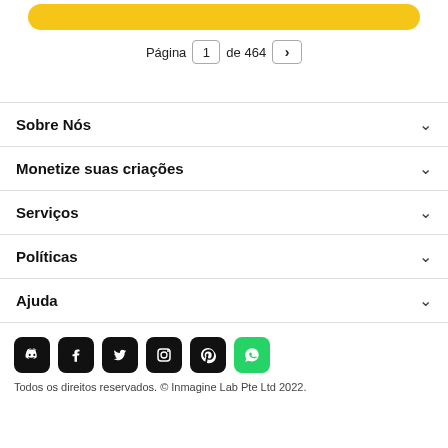[Figure (other): Yellow rounded button partially visible at top]
Página 1 de 464 >
Sobre Nós
Monetize suas criações
Serviços
Políticas
Ajuda
[Figure (other): Social media icons: Discord, Facebook, Twitter, Instagram, Pinterest, WhatsApp]
Todos os direitos reservados. © Inmagine Lab Pte Ltd 2022.